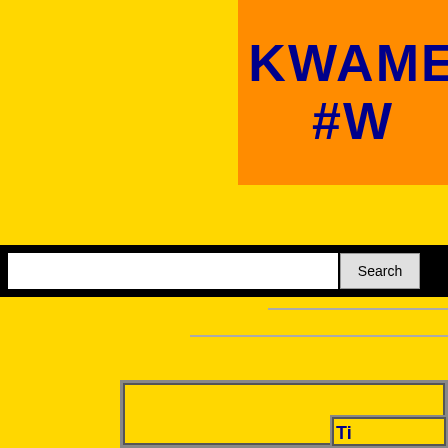[Figure (screenshot): Orange banner box in top right showing 'KWAME' and '#W' (partially cropped) text in dark blue bold font on orange background]
[Figure (screenshot): Search bar with white text input field and 'Search' button on black background bar]
[Figure (screenshot): Yellow content boxes with gray borders in lower portion of page, partially cropped]